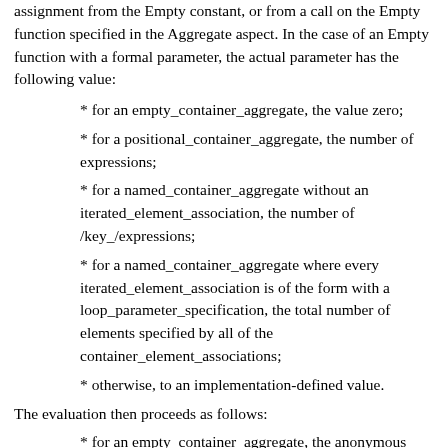assignment from the Empty constant, or from a call on the Empty function specified in the Aggregate aspect. In the case of an Empty function with a formal parameter, the actual parameter has the following value:
* for an empty_container_aggregate, the value zero;
* for a positional_container_aggregate, the number of expressions;
* for a named_container_aggregate without an iterated_element_association, the number of /key_/expressions;
* for a named_container_aggregate where every iterated_element_association is of the form with a loop_parameter_specification, the total number of elements specified by all of the container_element_associations;
* otherwise, to an implementation-defined value.
The evaluation then proceeds as follows:
* for an empty_container_aggregate, the anonymous object A is the result;
* for a positional_container_aggregate of a type with a specified Add_Unnamed procedure, each expression is evaluated in turn to produce the Add_Unnamed ...